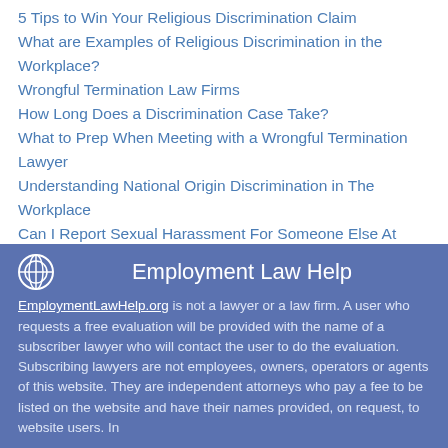5 Tips to Win Your Religious Discrimination Claim
What are Examples of Religious Discrimination in the Workplace?
Wrongful Termination Law Firms
How Long Does a Discrimination Case Take?
What to Prep When Meeting with a Wrongful Termination Lawyer
Understanding National Origin Discrimination in The Workplace
Can I Report Sexual Harassment For Someone Else At Work?
3 Things to Ask Yourself If You Were Wrongfully Terminated
What is SOGI Discrimination?
Can I Be Fired for Taking Workers' Compensation?
More
Employment Law Help
EmploymentLawHelp.org is not a lawyer or a law firm. A user who requests a free evaluation will be provided with the name of a subscriber lawyer who will contact the user to do the evaluation. Subscribing lawyers are not employees, owners, operators or agents of this website. They are independent attorneys who pay a fee to be listed on the website and have their names provided, on request, to website users. In